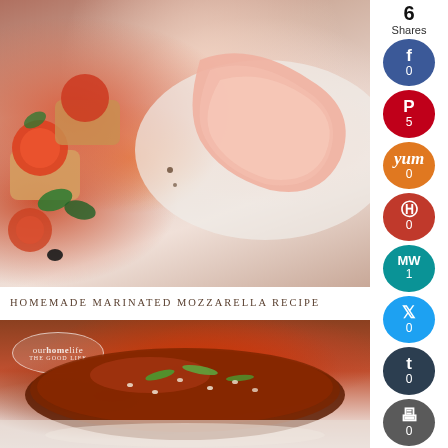[Figure (photo): Food photo showing bruschetta with tomatoes and basil on left, prosciutto on white plate on right, viewed from above on light surface]
HOMEMADE MARINATED MOZZARELLA RECIPE
[Figure (photo): Food photo of meat dish with dark glaze, sesame seeds, and green onion garnish on a plate, with 'Our Home Life' logo overlay. Below shows a light colored dish.]
6
Shares
0
5
0
0
1
0
0
0